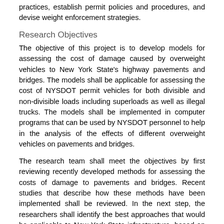practices, establish permit policies and procedures, and devise weight enforcement strategies.
Research Objectives
The objective of this project is to develop models for assessing the cost of damage caused by overweight vehicles to New York State's highway pavements and bridges. The models shall be applicable for assessing the cost of NYSDOT permit vehicles for both divisible and non-divisible loads including superloads as well as illegal trucks. The models shall be implemented in computer programs that can be used by NYSDOT personnel to help in the analysis of the effects of different overweight vehicles on pavements and bridges.
The research team shall meet the objectives by first reviewing recently developed methods for assessing the costs of damage to pavements and bridges. Recent studies that describe how these methods have been implemented shall be reviewed. In the next step, the researchers shall identify the best approaches that would be applicable to New York State infrastructure, based on the information available on truck